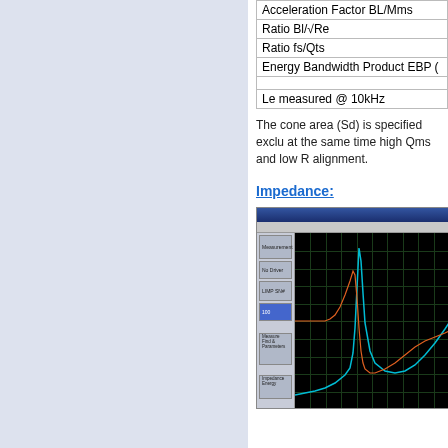| Parameter |
| --- |
| Acceleration Factor BL/Mms |
| Ratio Bl/√Re |
| Ratio fs/Qts |
| Energy Bandwidth Product EBP ( |
| Le measured @ 10kHz |
The cone area (Sd) is specified exclu at the same time high Qms and low R alignment.
Impedance:
[Figure (screenshot): Software screenshot showing impedance measurement plot with teal impedance curve peaking sharply and orange/red phase curve, on black background with green gridlines. Left sidebar shows measurement controls.]